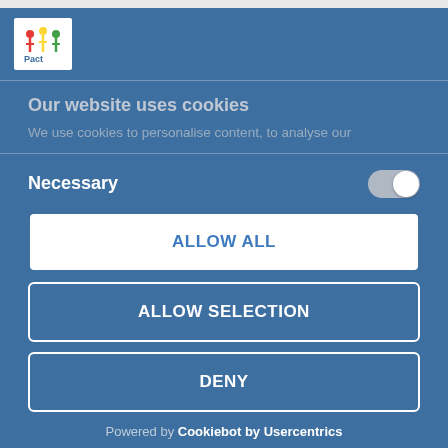[Figure (logo): Pact charity logo in white box with colorful star/people icon]
Our website uses cookies
We use cookies to personalise content, to analyse our
Necessary
ALLOW ALL
ALLOW SELECTION
DENY
Powered by Cookiebot by Usercentrics
Apply for job